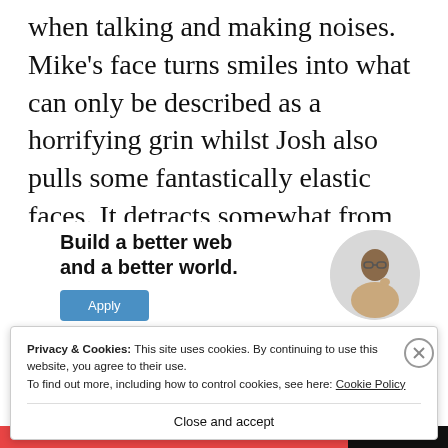when talking and making noises. Mike's face turns smiles into what can only be described as a horrifying grin whilst Josh also pulls some fantastically elastic faces. It detracts somewhat from the game and the 'horror' of the situation.
[Figure (infographic): Advertisement banner: 'Build a better web and a better world.' with a blue Apply button and a circular photo of a man thinking.]
Privacy & Cookies: This site uses cookies. By continuing to use this website, you agree to their use.
To find out more, including how to control cookies, see here: Cookie Policy
Close and accept